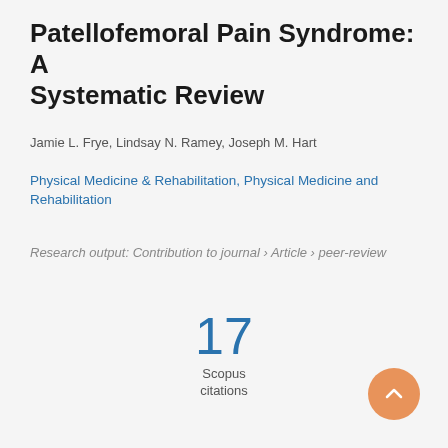Patellofemoral Pain Syndrome: A Systematic Review
Jamie L. Frye, Lindsay N. Ramey, Joseph M. Hart
Physical Medicine & Rehabilitation, Physical Medicine and Rehabilitation
Research output: Contribution to journal › Article › peer-review
17
Scopus
citations
[Figure (other): Orange circular scroll-to-top button with upward chevron arrow]